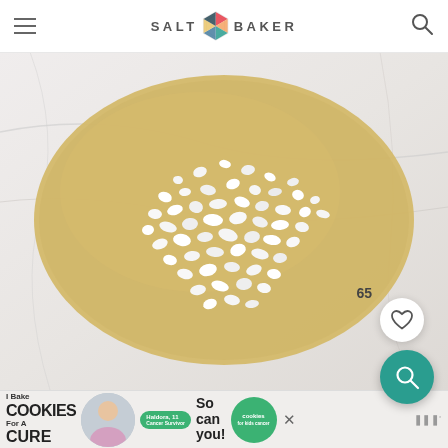SALT & BAKER
[Figure (photo): Flat dough oval spread on a marble surface with white pearl sugar scattered on top, photographed from above]
65
[Figure (other): White circular heart/favorite button]
[Figure (other): Teal circular search button]
[Figure (other): Advertisement banner: I Bake COOKIES For A CURE - Haldora, 11 Cancer Survivor - So can you! - cookies for kids cancer logo]